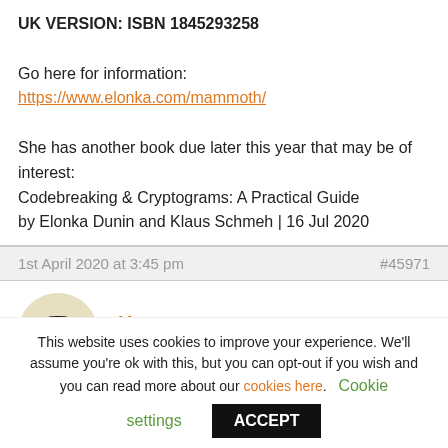UK VERSION: ISBN 1845293258

Go here for information:
https://www.elonka.com/mammoth/

She has another book due later this year that may be of interest:
Codebreaking & Cryptograms: A Practical Guide
by Elonka Dunin and Klaus Schmeh | 16 Jul 2020
1st April 2020 at 3:45 pm  #45971
[Figure (photo): Avatar of user Harry: a black fedora hat with red band on a beige/cream circular background]
Harry
Keymaster
That one has earned a place in the library straight away!
This website uses cookies to improve your experience. We'll assume you're ok with this, but you can opt-out if you wish and you can read more about our cookies here.  Cookie settings  ACCEPT